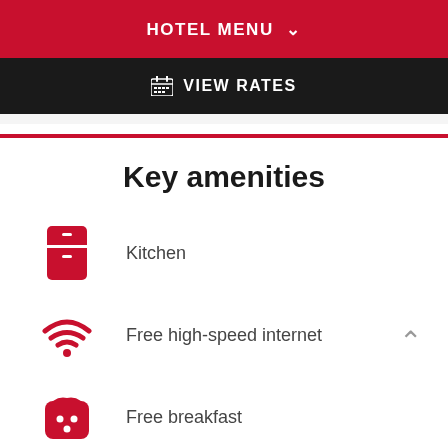HOTEL MENU
VIEW RATES
Key amenities
Kitchen
Free high-speed internet
Free breakfast